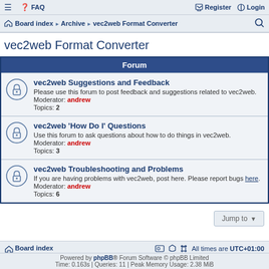≡  FAQ   Register   Login
Board index · Archive · vec2web Format Converter
vec2web Format Converter
| Forum |
| --- |
| vec2web Suggestions and Feedback | Please use this forum to post feedback and suggestions related to vec2web. | Moderator: andrew | Topics: 2 |
| vec2web 'How Do I' Questions | Use this forum to ask questions about how to do things in vec2web. | Moderator: andrew | Topics: 3 |
| vec2web Troubleshooting and Problems | If you are having problems with vec2web, post here. Please report bugs here. | Moderator: andrew | Topics: 6 |
Board index   All times are UTC+01:00
Powered by phpBB® Forum Software © phpBB Limited
Time: 0.163s | Queries: 11 | Peak Memory Usage: 2.38 MiB